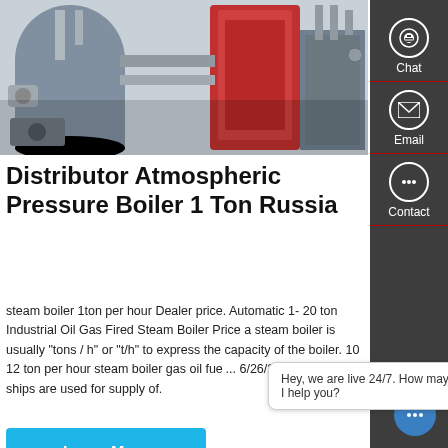[Figure (photo): Industrial boiler equipment photo showing red and grey boiler units with pipes and motors]
Distributor Atmospheric Pressure Boiler 1 Ton Russia
steam boiler 1ton per hour Dealer price. Automatic 1- 20 ton Industrial Oil Gas Fired Steam Boiler Price a steam boiler is usually "tons / h" or "t/h" to express the capacity of the boiler. 10 12 ton per hour steam boiler gas oil fuel... 6/26/2018 · Boilers on ships are used for supply of.
Learn More
[Figure (photo): Industrial boiler room interior showing large blue boiler unit with Chinese text, yellow pipes, and various mechanical components]
Contact us now!
Hey, we are live 24/7. How may I help you?